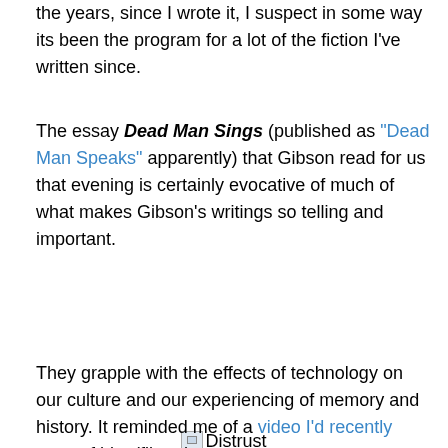the years, since I wrote it, I suspect in some way its been the program for a lot of the fiction I've written since.
The essay Dead Man Sings (published as "Dead Man Speaks" apparently) that Gibson read for us that evening is certainly evocative of much of what makes Gibson's writings so telling and important.
[Figure (illustration): Broken image placeholder icon followed by text: Distrust That Particular Flavor cover]
Distrust That Particular Flavor cover
They grapple with the effects of technology on our culture and our experiencing of memory and history. It reminded me of a video I'd recently seen of him (filmed many years